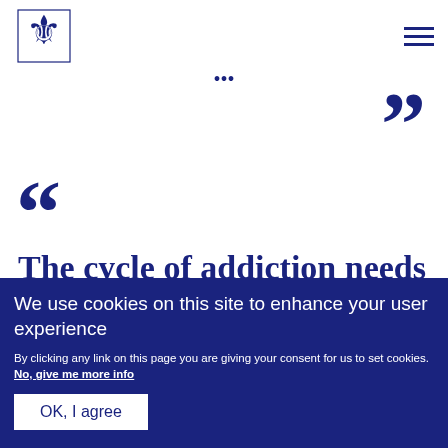[Figure (logo): UK Government Royal coat of arms logo]
“The cycle of addiction needs to be broken,
We use cookies on this site to enhance your user experience
By clicking any link on this page you are giving your consent for us to set cookies. No, give me more info
OK, I agree